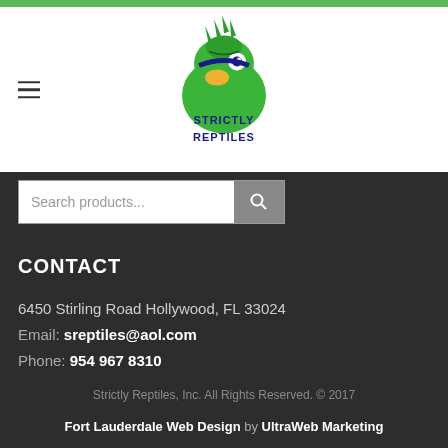[Figure (logo): Strictly Reptiles logo with a green iguana graphic and stylized text]
Search products...
CONTACT
6450 Stirling Road Hollywood, FL 33024
Email: sreptiles@aol.com
Phone: 954 967 8310
Strictly Reptiles, Inc. All Rights Reserved. © 2017
Fort Lauderdale Web Design by UltraWeb Marketing